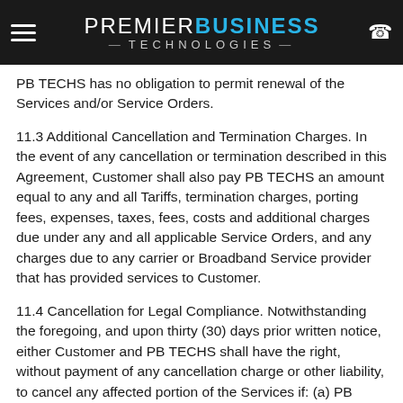PREMIER BUSINESS TECHNOLOGIES
PB TECHS has no obligation to permit renewal of the Services and/or Service Orders.
11.3 Additional Cancellation and Termination Charges. In the event of any cancellation or termination described in this Agreement, Customer shall also pay PB TECHS an amount equal to any and all Tariffs, termination charges, porting fees, expenses, taxes, fees, costs and additional charges due under any and all applicable Service Orders, and any charges due to any carrier or Broadband Service provider that has provided services to Customer.
11.4 Cancellation for Legal Compliance. Notwithstanding the foregoing, and upon thirty (30) days prior written notice, either Customer and PB TECHS shall have the right, without payment of any cancellation charge or other liability, to cancel any affected portion of the Services if: (a) PB TECHS is prohibited by Law from providing such portion of the Services; (b) any material rate or term contained herein and relevant to the affected Services is substantially changed by or as a result of any regulation or order